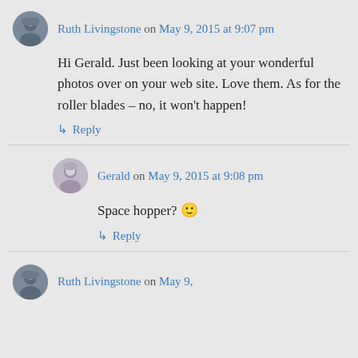Ruth Livingstone on May 9, 2015 at 9:07 pm
Hi Gerald. Just been looking at your wonderful photos over on your web site. Love them. As for the roller blades – no, it won't happen!
↳ Reply
Gerald on May 9, 2015 at 9:08 pm
Space hopper? 🙂
↳ Reply
Ruth Livingstone on May 9,